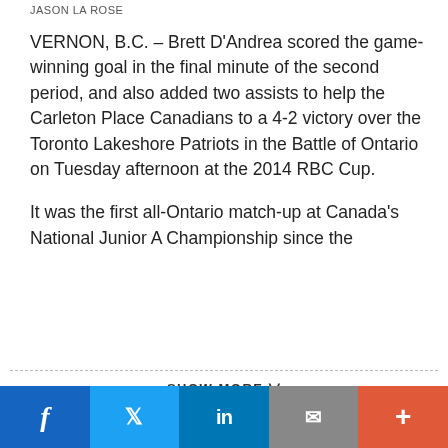JASON LA ROSE
VERNON, B.C. – Brett D'Andrea scored the game-winning goal in the final minute of the second period, and also added two assists to help the Carleton Place Canadians to a 4-2 victory over the Toronto Lakeshore Patriots in the Battle of Ontario on Tuesday afternoon at the 2014 RBC Cup.
It was the first all-Ontario match-up at Canada's National Junior A Championship since the
SHOW MORE ∨
PLAY-BY-PLAY